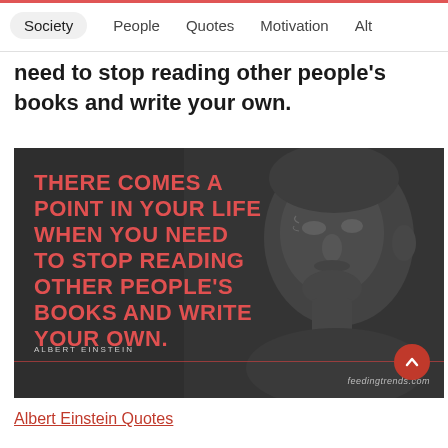Society | People | Quotes | Motivation | Alt
need to stop reading other people's books and write your own.
[Figure (photo): Quote image on dark background with Einstein portrait. Bold red text reads: THERE COMES A POINT IN YOUR LIFE WHEN YOU NEED TO STOP READING OTHER PEOPLE'S BOOKS AND WRITE YOUR OWN. Attribution: ALBERT EINSTEIN. Watermark: feedingtrends.com. Scroll-up button (red circle with chevron) in bottom right.]
Albert Einstein Quotes